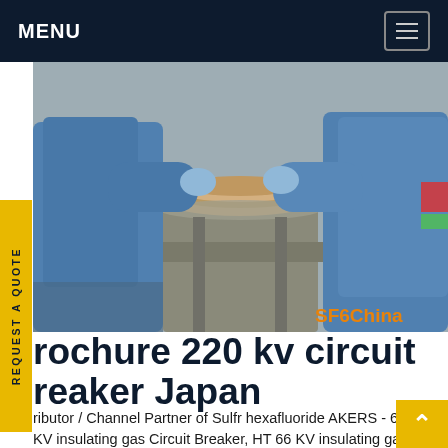MENU
[Figure (photo): Two technicians wearing blue protective suits working on industrial electrical equipment — appears to be a circuit breaker component on a concrete pedestal. SF6China watermark visible in orange.]
rochure 220 kv circuit reaker Japan
ributor / Channel Partner of Sulfr hexafluoride AKERS - 66 KV insulating gas Circuit Breaker, HT 66 KV insulating gas Circuit Breaker, 132 KV gaz sf6 Circuit Breaker and 220 KV Sulfr hexafluoride Circuit Breaker offered by Power Line Electric India (P)